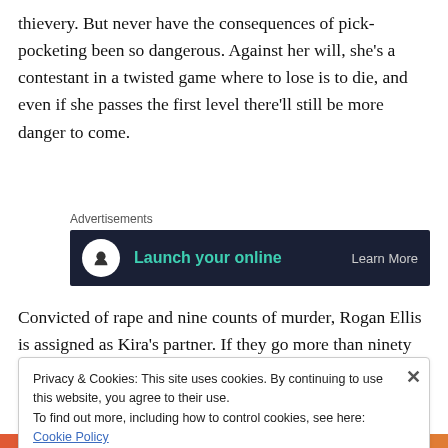thievery. But never have the consequences of pick-pocketing been so dangerous. Against her will, she's a contestant in a twisted game where to lose is to die, and even if she passes the first level there'll still be more danger to come.
[Figure (other): Advertisement banner with dark navy background showing 'Launch your online' in teal text with a circular logo icon on the left and 'Learn More' on the right]
Convicted of rape and nine counts of murder, Rogan Ellis is assigned as Kira's partner. If they go more than ninety
Privacy & Cookies: This site uses cookies. By continuing to use this website, you agree to their use.
To find out more, including how to control cookies, see here: Cookie Policy
Close and accept